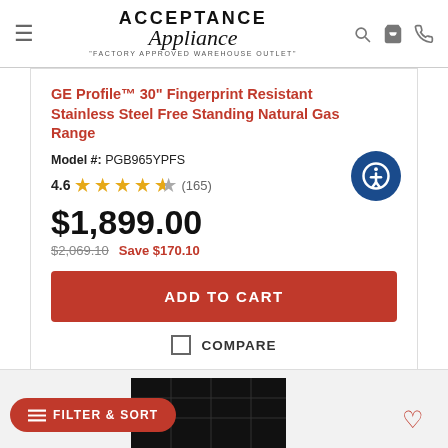ACCEPTANCE Appliance "FACTORY APPROVED WAREHOUSE OUTLET"
GE Profile™ 30" Fingerprint Resistant Stainless Steel Free Standing Natural Gas Range
Model #: PGB965YPFS
4.6 ★★★★½ (165)
$1,899.00
$2,069.10  Save $170.10
ADD TO CART
COMPARE
FILTER & SORT